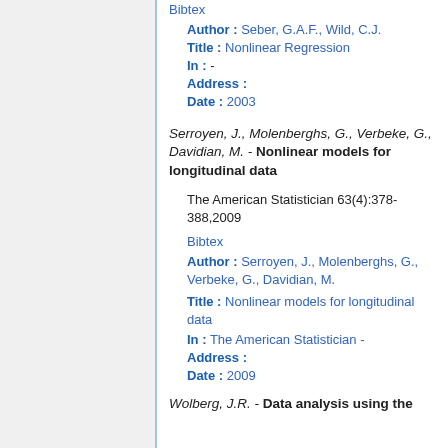Bibtex
Author : Seber, G.A.F., Wild, C.J.
Title : Nonlinear Regression
In : -
Address :
Date : 2003
Serroyen, J., Molenberghs, G., Verbeke, G., Davidian, M. - Nonlinear models for longitudinal data
The American Statistician 63(4):378-388,2009
Bibtex
Author : Serroyen, J., Molenberghs, G., Verbeke, G., Davidian, M.
Title : Nonlinear models for longitudinal data
In : The American Statistician -
Address :
Date : 2009
Wolberg, J.R. - Data analysis using the